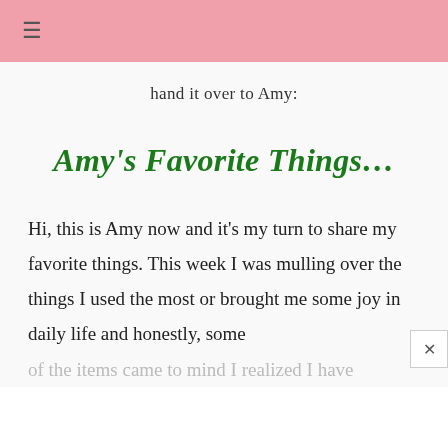≡
hand it over to Amy:
Amy's Favorite Things…
Hi, this is Amy now and it's my turn to share my favorite things. This week I was mulling over the things I used the most or brought me some joy in daily life and honestly, some
of the items came to mind I realized I have